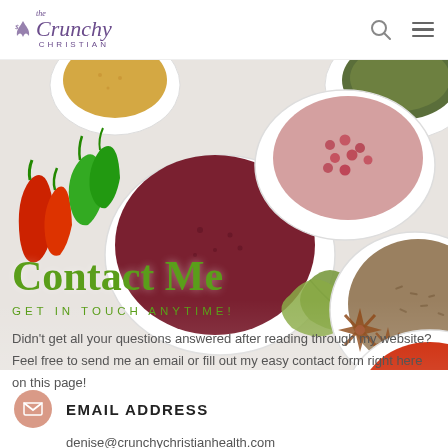The Crunchy Christian
[Figure (photo): Overhead photo of various colorful spices in white bowls — red chili peppers, sumac, pink peppercorns, cumin, red paprika powder, bay leaves, dried herbs — arranged on a light background]
Contact Me
GET IN TOUCH ANYTIME!
Didn't get all your questions answered after reading through my website? Feel free to send me an email or fill out my easy contact form right here on this page!
EMAIL ADDRESS
denise@crunchychristianhealth.com